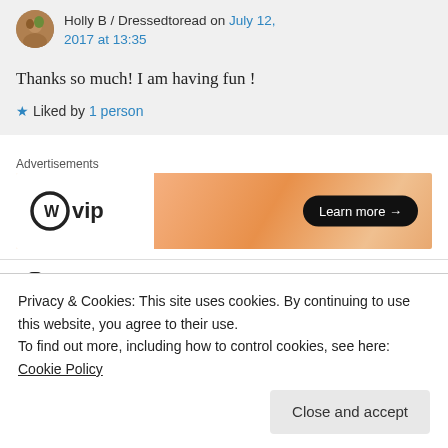Holly B / Dressedtoread on July 12, 2017 at 13:35
Thanks so much! I am having fun !
★ Liked by 1 person
Advertisements
[Figure (other): WordPress VIP advertisement banner with 'Learn more →' button on orange/peach gradient background]
nessafrance on September 16, 2017 at 13:37
Privacy & Cookies: This site uses cookies. By continuing to use this website, you agree to their use.
To find out more, including how to control cookies, see here: Cookie Policy